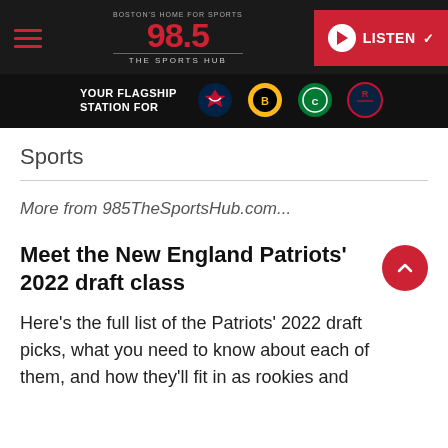985 The Sports Hub — BOSTON'S HOME FOR SPORTS | YOUR FLAGSHIP STATION FOR [Patriots, Bruins, Celtics, Revolution logos]
Sports
More from 985TheSportsHub.com...
Meet the New England Patriots' 2022 draft class
Here's the full list of the Patriots' 2022 draft picks, what you need to know about each of them, and how they'll fit in as rookies and